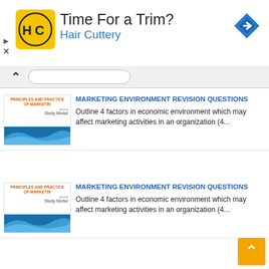[Figure (infographic): Advertisement banner for Hair Cuttery with logo, tagline 'Time For a Trim?', brand name 'Hair Cuttery', navigation arrow icon, and ad controls (play triangle, X close button).]
MARKETING ENVIRONMENT REVISION QUESTIONS
Outline 4 factors in economic environment which may affect marketing activities in an organization (4...
MARKETING ENVIRONMENT REVISION QUESTIONS
Outline 4 factors in economic environment which may affect marketing activities in an organization (4...
INTRODUCTION to MARKETING REVISION QUESTIONS
For exchange potential to exist there are